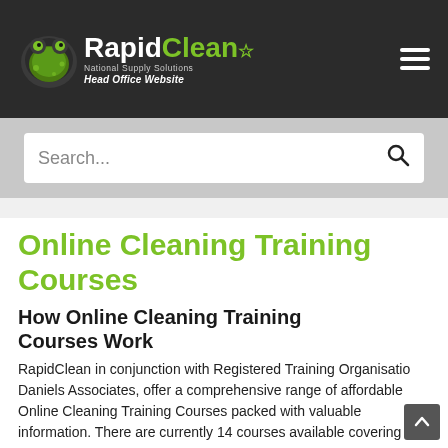[Figure (logo): RapidClean logo with frog mascot, white and green text reading 'RapidClean', subtitle 'National Supply Solutions', italic 'Head Office Website']
Search...
Online Cleaning Training Courses
How Online Cleaning Training Courses Work
RapidClean in conjunction with Registered Training Organisation Daniels Associates, offer a comprehensive range of affordable Online Cleaning Training Courses packed with valuable information. There are currently 14 courses available covering all